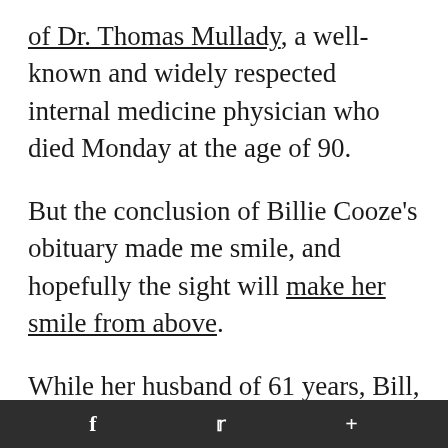of Dr. Thomas Mullady, a well-known and widely respected internal medicine physician who died Monday at the age of 90.
But the conclusion of Billie Cooze's obituary made me smile, and hopefully the sight will make her smile from above.
While her husband of 61 years, Bill, and the rest of the family certainly will miss Billie, this request envisions a true celebration of a life worthy of such.
The obit read, "In celebration of Billie's love of
f  🐦  +